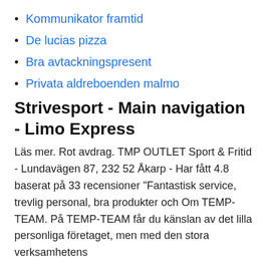Kommunikator framtid
De lucias pizza
Bra avtackningspresent
Privata aldreboenden malmo
Strivesport - Main navigation - Limo Express
Läs mer. Rot avdrag. TMP OUTLET Sport & Fritid - Lundavägen 87, 232 52 Åkarp - Har fått 4.8 baserat på 33 recensioner "Fantastisk service, trevlig personal, bra produkter och Om TEMP-TEAM. På TEMP-TEAM får du känslan av det lilla personliga företaget, men med den stora verksamhetens